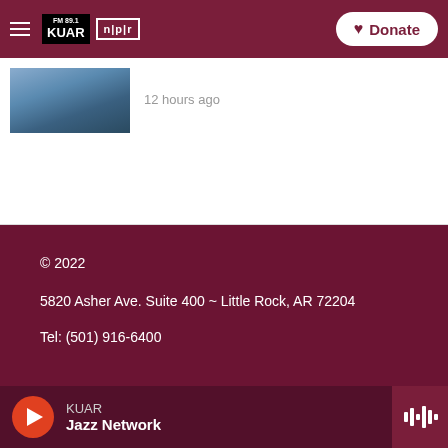FM 89.1 KUAR | NPR | Donate
[Figure (photo): Thumbnail image of a scene with vehicles and items outdoors]
12 hours ago
© 2022
5820 Asher Ave. Suite 400 ~ Little Rock, AR 72204
Tel: (501) 916-6400
KUAR
Jazz Network